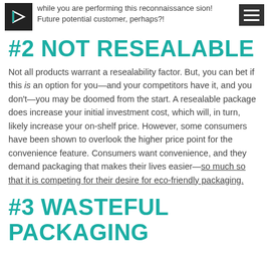while you are performing this reconnaissance sion! Future potential customer, perhaps?!
#2 NOT RESEALABLE
Not all products warrant a resealability factor. But, you can bet if this is an option for you—and your competitors have it, and you don't—you may be doomed from the start. A resealable package does increase your initial investment cost, which will, in turn, likely increase your on-shelf price. However, some consumers have been shown to overlook the higher price point for the convenience feature. Consumers want convenience, and they demand packaging that makes their lives easier—so much so that it is competing for their desire for eco-friendly packaging.
#3 WASTEFUL PACKAGING